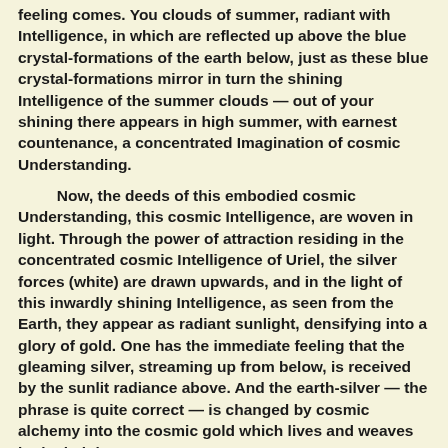feeling comes. You clouds of summer, radiant with Intelligence, in which are reflected up above the blue crystal-formations of the earth below, just as these blue crystal-formations mirror in turn the shining Intelligence of the summer clouds — out of your shining there appears in high summer, with earnest countenance, a concentrated Imagination of cosmic Understanding.
Now, the deeds of this embodied cosmic Understanding, this cosmic Intelligence, are woven in light. Through the power of attraction residing in the concentrated cosmic Intelligence of Uriel, the silver forces (white) are drawn upwards, and in the light of this inwardly shining Intelligence, as seen from the Earth, they appear as radiant sunlight, densifying into a glory of gold. One has the immediate feeling that the gleaming silver, streaming up from below, is received by the sunlit radiance above. And the earth-silver — the phrase is quite correct — is changed by cosmic alchemy into the cosmic gold which lives and weaves in the heights.
If we follow these happenings further, on through August, we gain an impression of something that